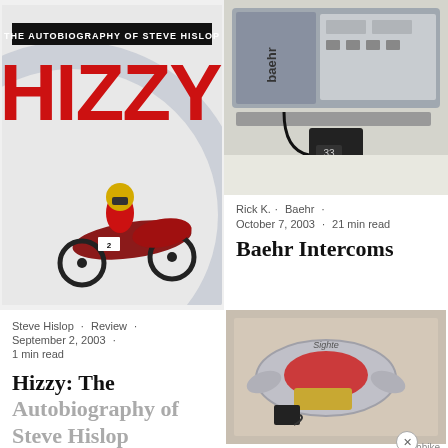[Figure (photo): Hizzy: The Autobiography of Steve Hislop book cover with motorcyclist racing]
[Figure (photo): Baehr intercom electronic device unit with cables on white background]
Rick K. · Baehr · October 7, 2003 · 21 min read
Baehr Intercoms
Steve Hislop · Review · September 2, 2003 · 1 min read
Hizzy: The Autobiography of Steve Hislop
[Figure (photo): Motorcycle tail light accessory (Sighte) in box packaging]